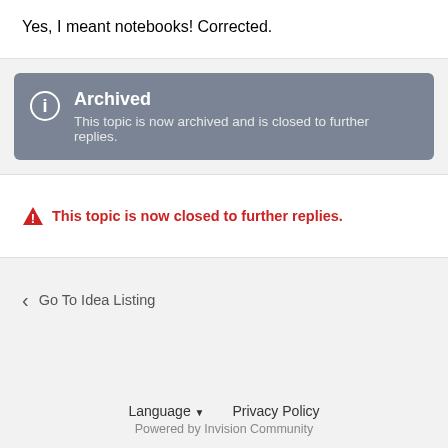Yes, I meant notebooks! Corrected.
Archived
This topic is now archived and is closed to further replies.
This topic is now closed to further replies.
Go To Idea Listing
Language  Privacy Policy
Powered by Invision Community